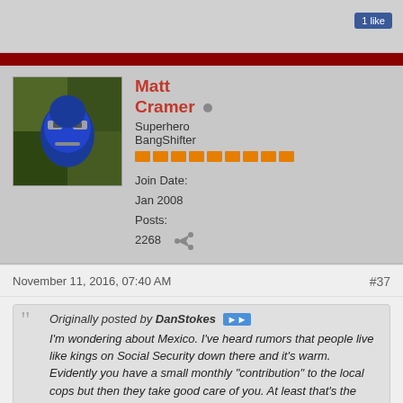1 like
Matt Cramer
Superhero BangShifter
Join Date: Jan 2008
Posts: 2268
November 11, 2016, 07:40 AM
#37
Originally posted by DanStokes
I'm wondering about Mexico. I've heard rumors that people live like kings on Social Security down there and it's warm. Evidently you have a small monthly "contribution" to the local cops but then they take good care of you. At least that's the stories I've heard. But maybe SS will go away, especially if it has to go over the wall?

Dan
There's a lot of places south of the border where a modest amount of